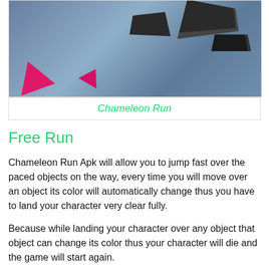[Figure (photo): Screenshot of Chameleon Run game showing 3D colored platforms with dark blocks and pink geometric shapes on a blue-grey background]
Chameleon Run
Free Run
Chameleon Run Apk will allow you to jump fast over the paced objects on the way, every time you will move over an object its color will automatically change thus you have to land your character very clear fully.
Because while landing your character over any object that object can change its color thus your character will die and the game will start again.
Tap Screen
Besides single tap jump you can make your